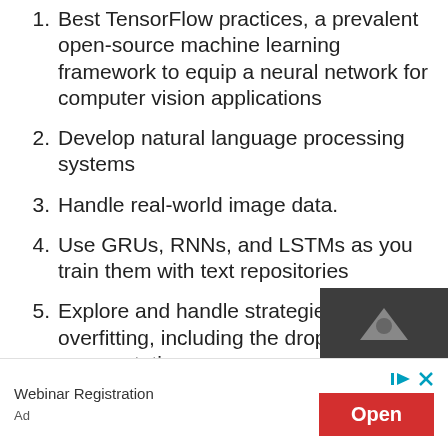1. Best TensorFlow practices, a prevalent open-source machine learning framework to equip a neural network for computer vision applications
2. Develop natural language processing systems
3. Handle real-world image data.
4. Use GRUs, RNNs, and LSTMs as you train them with text repositories
5. Explore and handle strategies to avoid overfitting, including the dropout and augmentation
[Figure (other): Advertisement banner: Webinar Registration with Open button in red and ad icons]
Webinar Registration
Ad